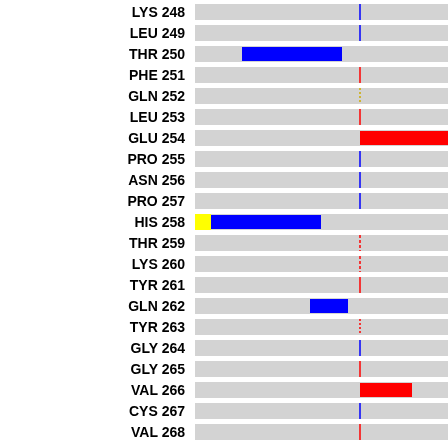[Figure (bar-chart): Horizontal bar chart showing per-residue values. Each residue row has a gray background bar spanning the full width, with colored segments indicating deviations: blue bars for negative/downward shifts, red bars for positive/upward shifts, yellow for a special marker. HIS 258 has a yellow square marker and a large blue bar. GLU 254 has a large red bar extending off the right edge. VAL 266 has a medium red bar. GLN 262 has a small blue bar. Vertical reference lines (blue or red dashed) are shown near the center-right of each row.]